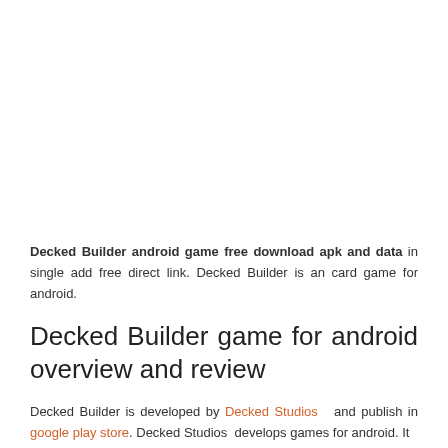Decked Builder android game free download apk and data in single add free direct link. Decked Builder is an card game for android.
Decked Builder game for android overview and review
Decked Builder is developed by Decked Studios and publish in google play store. Decked Studios develops games for android. It